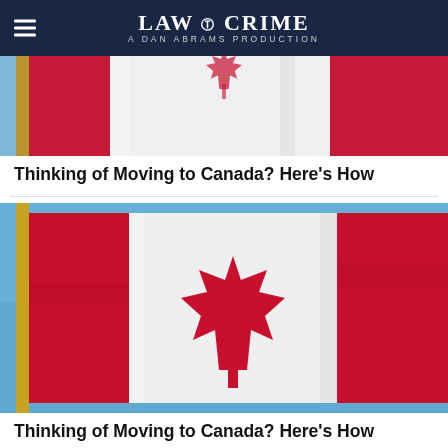LAW & CRIME — A DAN ABRAMS PRODUCTION
[Figure (photo): Canadian flag waving against a blue sky, partial view showing red and white sections]
Thinking of Moving to Canada? Here's How
[Figure (photo): Canadian flag waving against a blue sky, full view showing red maple leaf prominently]
Thinking of Moving to Canada? Here's How